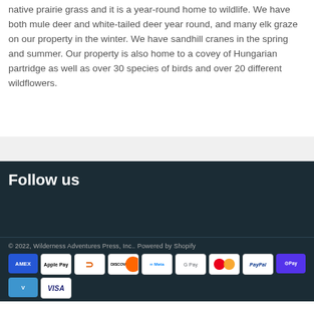native prairie grass and it is a year-round home to wildlife. We have both mule deer and white-tailed deer year round, and many elk graze on our property in the winter. We have sandhill cranes in the spring and summer. Our property is also home to a covey of Hungarian partridge as well as over 30 species of birds and over 20 different wildflowers.
Follow us
© 2022, Wilderness Adventures Press, Inc.. Powered by Shopify